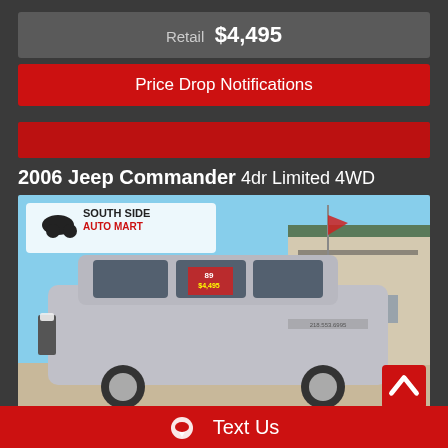Retail  $4,495
Price Drop Notifications
2006 Jeep Commander 4dr Limited 4WD
[Figure (photo): Photo of a silver 2006 Jeep Commander SUV parked at South Side Auto Mart dealership lot with a red flag and price sticker visible on windshield. Dealership building visible in background.]
Text Us